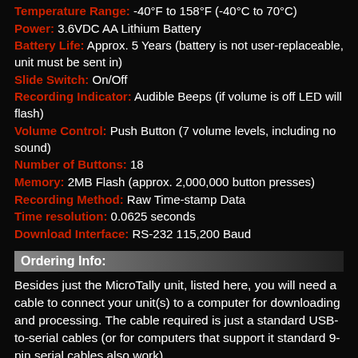Temperature Range: -40°F to 158°F (-40°C to 70°C)
Power: 3.6VDC AA Lithium Battery
Battery Life: Approx. 5 Years (battery is not user-replaceable, unit must be sent in)
Slide Switch: On/Off
Recording Indicator: Audible Beeps (if volume is off LED will flash)
Volume Control: Push Button (7 volume levels, including no sound)
Number of Buttons: 18
Memory: 2MB Flash (approx. 2,000,000 button presses)
Recording Method: Raw Time-stamp Data
Time resolution: 0.0625 seconds
Download Interface: RS-232 115,200 Baud
Ordering Info:
Besides just the MicroTally unit, listed here, you will need a cable to connect your unit(s) to a computer for downloading and processing. The cable required is just a standard USB-to-serial cables (or for computers that support it standard 9-pin serial cables also work).